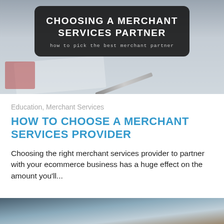[Figure (photo): Hero banner image showing a desk with papers, a pencil, and a calculator. Overlaid with a dark rounded rectangle containing the title 'CHOOSING A MERCHANT SERVICES PARTNER' and subtitle 'how to pick the best merchant partner'.]
Education, Merchant Services
HOW TO CHOOSE A MERCHANT SERVICES PROVIDER
Choosing the right merchant services provider to partner with your ecommerce business has a huge effect on the amount you'll...
[Figure (photo): Partial bottom image showing a desk scene, partially cut off at the bottom of the page.]